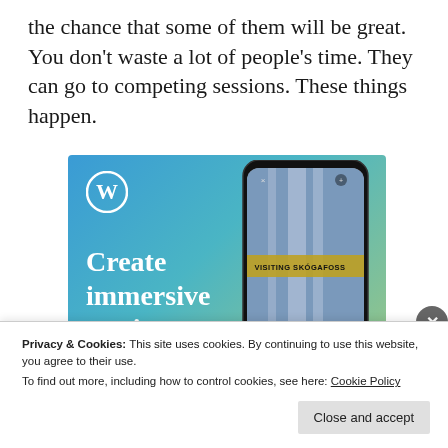the chance that some of them will be great. You don't waste a lot of people's time. They can go to competing sessions. These things happen.
[Figure (illustration): WordPress advertisement banner showing 'Create immersive stories.' text with WordPress logo, a phone mockup showing a waterfall photo with 'VISITING SKOGAFOSS' badge, on a blue-green gradient background.]
Privacy & Cookies: This site uses cookies. By continuing to use this website, you agree to their use.
To find out more, including how to control cookies, see here: Cookie Policy
Close and accept